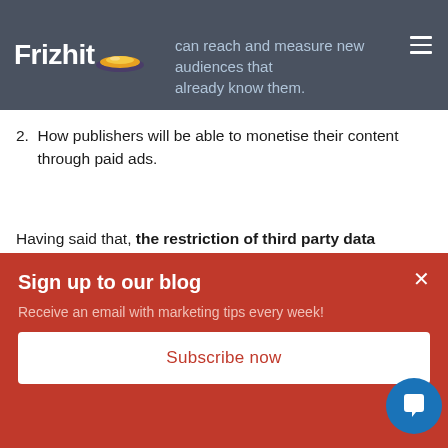Frizhit — ads can reach and measure new audiences that already know them.
2. How publishers will be able to monetise their content through paid ads.
Having said that, the restriction of third party data cookies will immediately result in:
1. The inability of digital businesses to track demographic information, customer behaviour or interests of their users.
Sign up to our blog
Receive an email with marketing tips every week!
Subscribe now